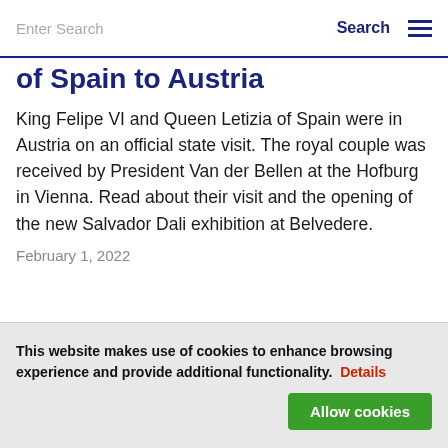Enter Search | Search
of Spain to Austria
King Felipe VI and Queen Letizia of Spain were in Austria on an official state visit. The royal couple was received by President Van der Bellen at the Hofburg in Vienna. Read about their visit and the opening of the new Salvador Dali exhibition at Belvedere.
February 1, 2022
This website makes use of cookies to enhance browsing experience and provide additional functionality.  Details
Allow cookies